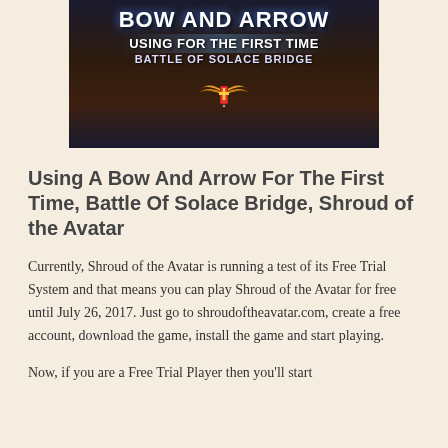[Figure (screenshot): Game screenshot/thumbnail showing dark fantasy battle scene with text 'BOW AND ARROW USING FOR THE FIRST TIME BATTLE OF SOLACE BRIDGE' and a winged emblem]
Using A Bow And Arrow For The First Time, Battle Of Solace Bridge, Shroud of the Avatar
Currently, Shroud of the Avatar is running a test of its Free Trial System and that means you can play Shroud of the Avatar for free until July 26, 2017. Just go to shroudoftheavatar.com, create a free account, download the game, install the game and start playing.
Now, if you are a Free Trial Player then you'll start